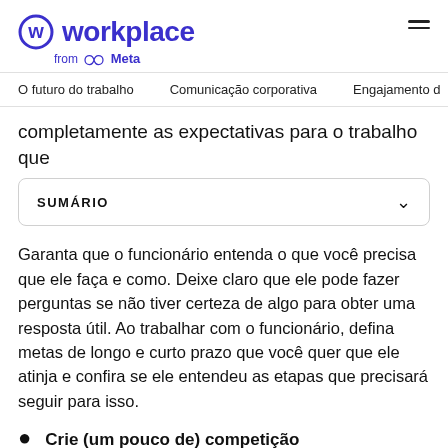workplace from Meta
O futuro do trabalho   Comunicação corporativa   Engajamento d
completamente as expectativas para o trabalho que
SUMÁRIO
Garanta que o funcionário entenda o que você precisa que ele faça e como. Deixe claro que ele pode fazer perguntas se não tiver certeza de algo para obter uma resposta útil. Ao trabalhar com o funcionário, defina metas de longo e curto prazo que você quer que ele atinja e confira se ele entendeu as etapas que precisará seguir para isso.
Crie (um pouco de) competição